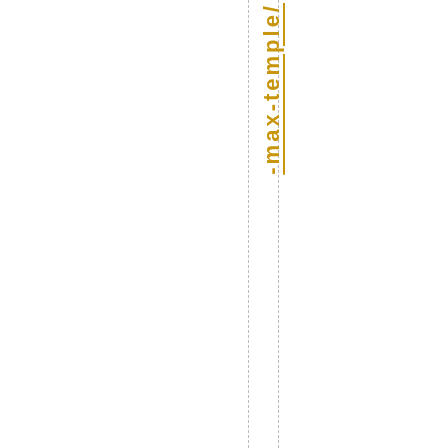-max-temple/ It would be interesti
[Figure (other): Two vertical dashed lines running the full height of the page]